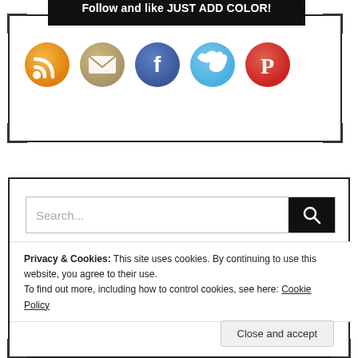Follow and like JUST ADD COLOR!
[Figure (infographic): Five circular social media icons: RSS (orange), Email (tan/gold), Facebook (blue), Twitter (light blue), Pinterest (red)]
[Figure (screenshot): Search bar with text placeholder 'Search...' and a black search button with magnifying glass icon]
Privacy & Cookies: This site uses cookies. By continuing to use this website, you agree to their use.
To find out more, including how to control cookies, see here: Cookie Policy
Close and accept